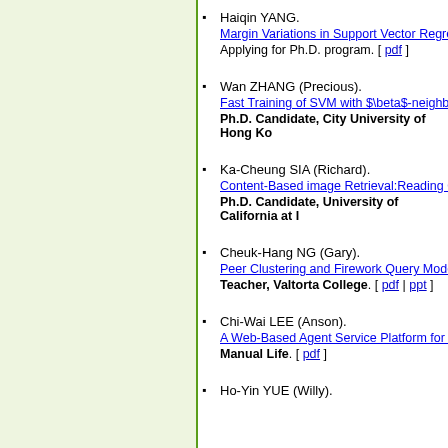Haiqin YANG.
Margin Variations in Support Vector Regression
Applying for Ph.D. program. [ pdf ]
Wan ZHANG (Precious).
Fast Training of SVM with $\beta$-neighbor Edi...
Ph.D. Candidate, City University of Hong Ko...
Ka-Cheung SIA (Richard).
Content-Based image Retrieval:Reading One's...
Ph.D. Candidate, University of California at I...
Cheuk-Hang NG (Gary).
Peer Clustering and Firework Query Model in P...
Teacher, Valtorta College. [ pdf | ppt ]
Chi-Wai LEE (Anson).
A Web-Based Agent Service Platform for E-Co...
Manual Life. [ pdf ]
Ho-Yin YUE (Willy).